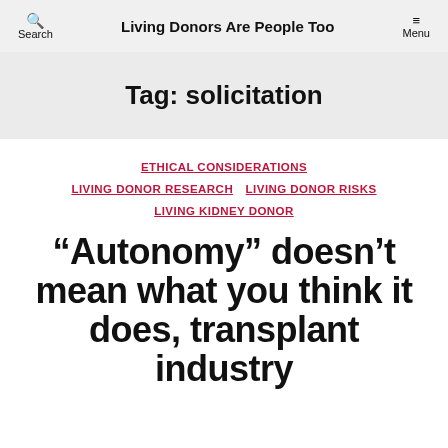Search   Living Donors Are People Too   Menu
Tag: solicitation
ETHICAL CONSIDERATIONS   LIVING DONOR RESEARCH   LIVING DONOR RISKS   LIVING KIDNEY DONOR
“Autonomy” doesn’t mean what you think it does, transplant industry